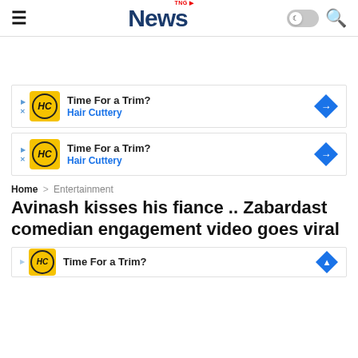TNG News
[Figure (screenshot): Hair Cuttery advertisement banner: Time For a Trim? Hair Cuttery]
[Figure (screenshot): Hair Cuttery advertisement banner: Time For a Trim? Hair Cuttery]
Home > Entertainment
Avinash kisses his fiance .. Zabardast comedian engagement video goes viral
[Figure (screenshot): Partial Hair Cuttery advertisement banner: Time For a Trim?]